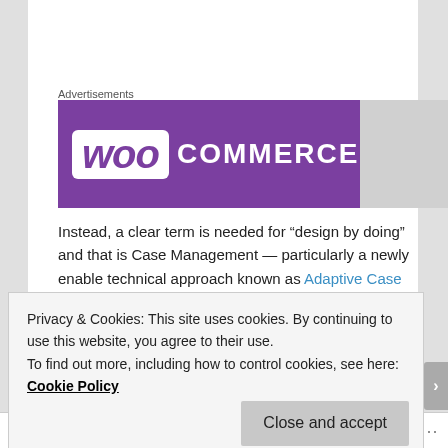Advertisements
[Figure (logo): WooCommerce logo on purple background banner]
Instead, a clear term is needed for “design by doing” and that is Case Management — particularly a newly enable technical approach known as Adaptive Case Management.  By having a clear label for “design by doing”, we will help people understand what we are talking about, what is required, what is not required, and
Privacy & Cookies: This site uses cookies. By continuing to use this website, you agree to their use.
To find out more, including how to control cookies, see here: Cookie Policy